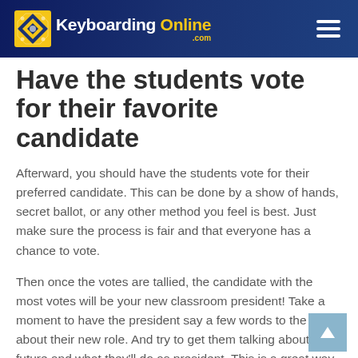Keyboarding Online .com
Have the students vote for their favorite candidate
Afterward, you should have the students vote for their preferred candidate. This can be done by a show of hands, secret ballot, or any other method you feel is best. Just make sure the process is fair and that everyone has a chance to vote.
Then once the votes are tallied, the candidate with the most votes will be your new classroom president! Take a moment to have the president say a few words to the class about their new role. And try to get them talking about the future and what they'll do as president. This is a great way to get the students excited about the upcoming school year.
And that's all there is to it! By following these steps, you'll have all your students ready to become great leaders.